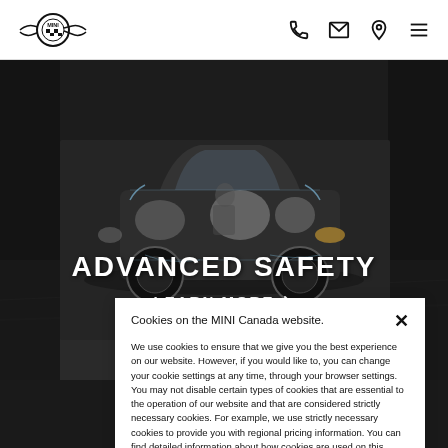MINI Canada website header with logo and navigation icons
[Figure (photo): MINI car with transparent body showing airbags and safety systems, driving on a blurred road background. Text overlay: ADVANCED SAFETY and LEARN MORE]
ADVANCED SAFETY
LEARN MORE
Cookies on the MINI Canada website.
We use cookies to ensure that we give you the best experience on our website. However, if you would like to, you can change your cookie settings at any time, through your browser settings. You may not disable certain types of cookies that are essential to the operation of our website and that are considered strictly necessary cookies. For example, we use strictly necessary cookies to provide you with regional pricing information. You can find detailed information about how cookies are used on this website by clicking here.